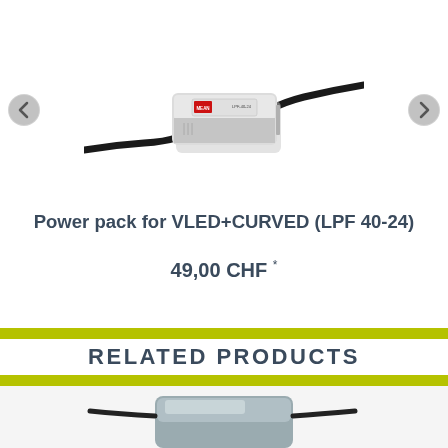[Figure (photo): A white rectangular LED power supply/driver unit (LPF 40-24) with black cables extending from both ends. The device has a MEAN WELL logo label on top with certification marks.]
Power pack for VLED+CURVED (LPF 40-24)
49,00 CHF *
RELATED PRODUCTS
[Figure (photo): Bottom portion of a related product image showing what appears to be another electronic power supply unit, partially visible at the bottom of the page.]